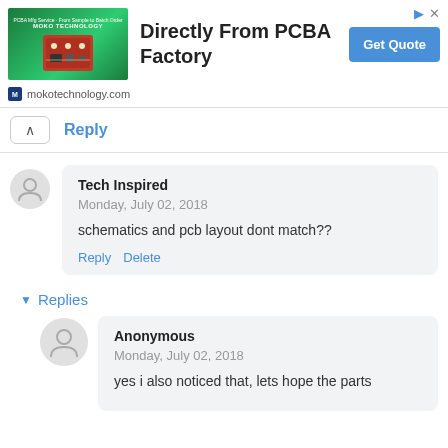[Figure (screenshot): Advertisement banner for MOKO Technology PCBA manufacturing service. Shows a red circuit board image on green background, bold text 'Directly From PCBA Factory', a blue 'Get Quote' button, and source 'mokotechnology.com']
Reply
Tech Inspired
Monday, July 02, 2018
schematics and pcb layout dont match??
Reply  Delete
Replies
Anonymous
Monday, July 02, 2018
yes i also noticed that, lets hope the parts